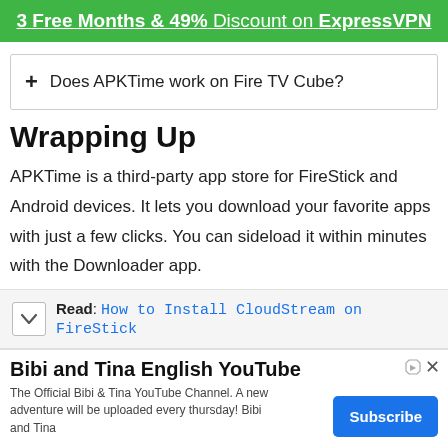3 Free Months & 49% Discount on ExpressVPN
+ Does APKTime work on Fire TV Cube?
Wrapping Up
APKTime is a third-party app store for FireStick and Android devices. It lets you download your favorite apps with just a few clicks. You can sideload it within minutes with the Downloader app.
Read: How to Install CloudStream on FireStick
Bibi and Tina English YouTube
The Official Bibi & Tina YouTube Channel. A new adventure will be uploaded every thursday! Bibi and Tina
Subscribe